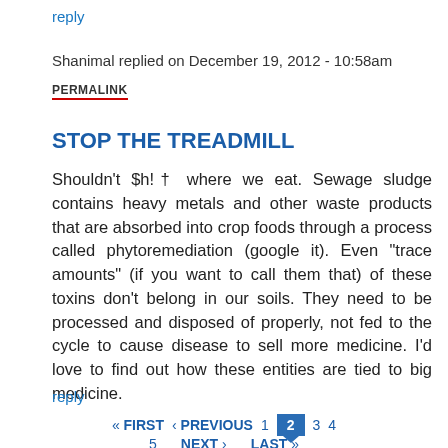reply
Shanimal replied on December 19, 2012 - 10:58am
PERMALINK
STOP THE TREADMILL
Shouldn't $h!† where we eat. Sewage sludge contains heavy metals and other waste products that are absorbed into crop foods through a process called phytoremediation (google it). Even "trace amounts" (if you want to call them that) of these toxins don't belong in our soils. They need to be processed and disposed of properly, not fed to the cycle to cause disease to sell more medicine. I'd love to find out how these entities are tied to big medicine.
reply
« FIRST  ‹ PREVIOUS  1  2  3  4  5  NEXT ›  LAST »